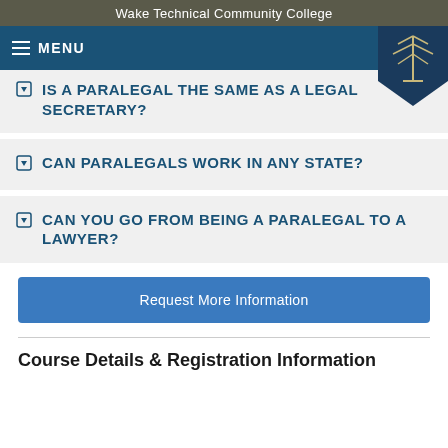Wake Technical Community College
IS A PARALEGAL THE SAME AS A LEGAL SECRETARY?
CAN PARALEGALS WORK IN ANY STATE?
CAN YOU GO FROM BEING A PARALEGAL TO A LAWYER?
Request More Information
Course Details & Registration Information